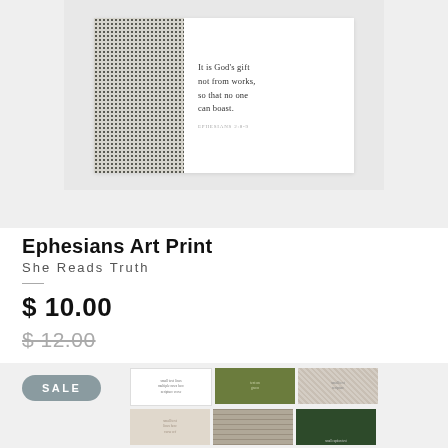[Figure (photo): Art print product image showing a card with stone/terrazzo texture on left and scripture quote text on right, displayed on light gray background]
Ephesians Art Print
She Reads Truth
$ 10.00
$ 12.00
[Figure (screenshot): Product grid showing multiple art prints with SALE badge, including white cards with text, green card, textured cards, beige card, grid-pattern card, and dark foliage card]